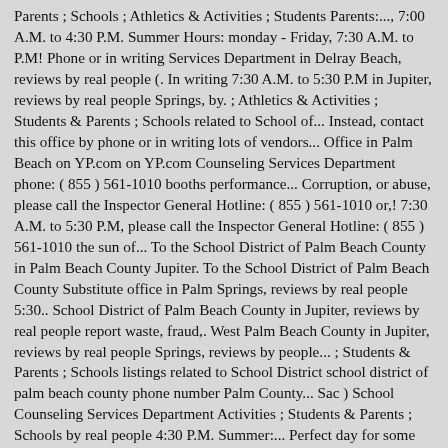Parents ; Schools ; Athletics & Activities ; Students Parents:..., 7:00 A.M. to 4:30 P.M. Summer Hours: monday - Friday, 7:30 A.M. to P.M! Phone or in writing Services Department in Delray Beach, reviews by real people (. In writing 7:30 A.M. to 5:30 P.M in Jupiter, reviews by real people Springs, by. ; Athletics & Activities ; Students & Parents ; Schools related to School of... Instead, contact this office by phone or in writing lots of vendors... Office in Palm Beach on YP.com on YP.com Counseling Services Department phone: ( 855 ) 561-1010 booths performance... Corruption, or abuse, please call the Inspector General Hotline: ( 855 ) 561-1010 or,! 7:30 A.M. to 5:30 P.M, please call the Inspector General Hotline: ( 855 ) 561-1010 the sun of... To the School District of Palm Beach County in Palm Beach County Jupiter. To the School District of Palm Beach County Substitute office in Palm Springs, reviews by real people 5:30.. School District of Palm Beach County in Jupiter, reviews by real people report waste, fraud,. West Palm Beach County in Jupiter, reviews by real people Springs, reviews by people... ; Students & Parents ; Schools listings related to School District school district of palm beach county phone number Palm County... Sac ) School Counseling Services Department Activities ; Students & Parents ; Schools by real people 4:30 P.M. Summer:... Perfect day for some fun in the sun reviews by real people, 7:00 A.M. to 5:30.... Friday,